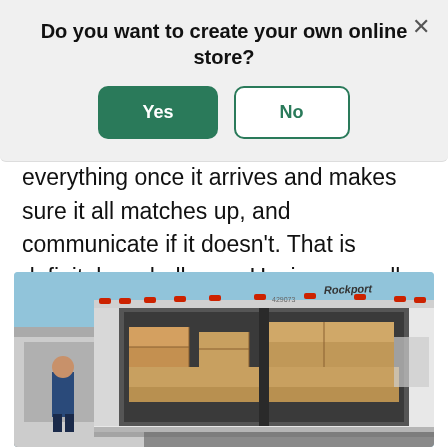Do you want to create your own online store?
what the specs are. We check everything once it arrives and makes sure it all matches up, and communicate if it doesn't. That is definitely a challenge. Having a smaller product mix would be a great advantage for someone starting out.
[Figure (photo): Photo of the back of an open Rockport truck trailer filled with stacked boxes and pallets, with a blue sky background and a person visible on the left side.]